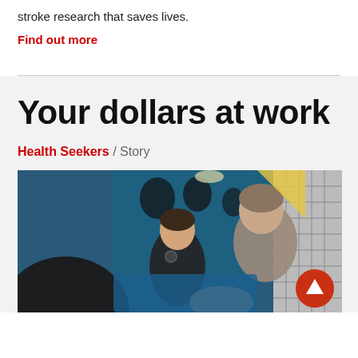stroke research that saves lives.
Find out more
Your dollars at work
Health Seekers / Story
[Figure (photo): An ambulance interior scene showing a paramedic in a black uniform attending to a patient, with medical equipment visible in the background. A partially visible person is in the foreground.]